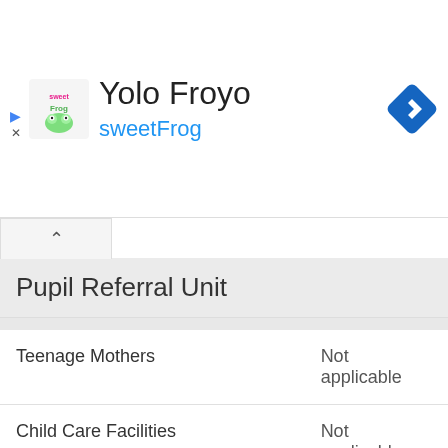[Figure (logo): sweetFrog frozen yogurt brand logo with colorful text and small frog icon]
Yolo Froyo
sweetFrog
Pupil Referral Unit
|  |  |
| --- | --- |
| Teenage Mothers | Not applicable |
| Child Care Facilities | Not applicable |
| Special Educational Needs (SEN) Provision in Primary Care Unit | Not applicable |
| Pupil Referral Unit (PRU) Provides for | Not |